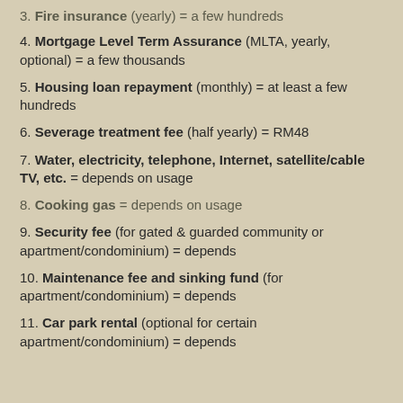3. Fire insurance (yearly) = a few hundreds
4. Mortgage Level Term Assurance (MLTA, yearly, optional) = a few thousands
5. Housing loan repayment (monthly) = at least a few hundreds
6. Severage treatment fee (half yearly) = RM48
7. Water, electricity, telephone, Internet, satellite/cable TV, etc. = depends on usage
8. Cooking gas = depends on usage
9. Security fee (for gated & guarded community or apartment/condominium) = depends
10. Maintenance fee and sinking fund (for apartment/condominium) = depends
11. Car park rental (optional for certain apartment/condominium) = depends